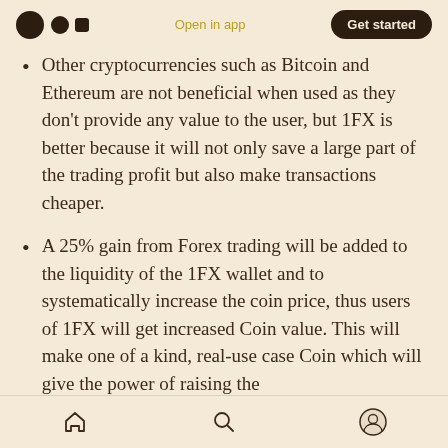Open in app | Get started
Other cryptocurrencies such as Bitcoin and Ethereum are not beneficial when used as they don't provide any value to the user, but 1FX is better because it will not only save a large part of the trading profit but also make transactions cheaper.
A 25% gain from Forex trading will be added to the liquidity of the 1FX wallet and to systematically increase the coin price, thus users of 1FX will get increased Coin value. This will make one of a kind, real-use case Coin which will give the power of raising the
Home | Search | Profile